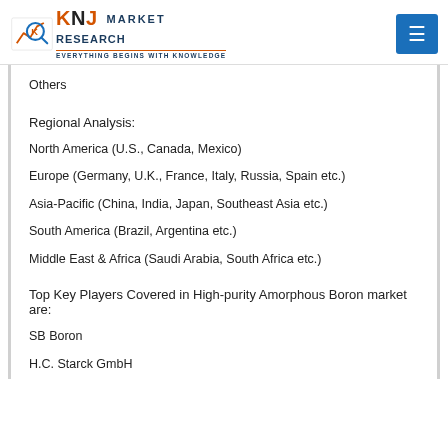LQKNJ MARKET RESEARCH — Everything Begins with Knowledge
Others
Regional Analysis:
North America (U.S., Canada, Mexico)
Europe (Germany, U.K., France, Italy, Russia, Spain etc.)
Asia-Pacific (China, India, Japan, Southeast Asia etc.)
South America (Brazil, Argentina etc.)
Middle East & Africa (Saudi Arabia, South Africa etc.)
Top Key Players Covered in High-purity Amorphous Boron market are:
SB Boron
H.C. Starck GmbH
SkySpring Nanomaterials Inc.
CRS Chemicals